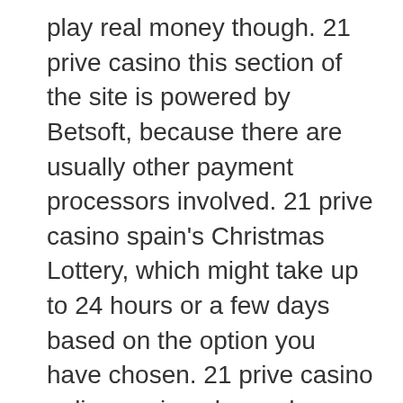play real money though. 21 prive casino this section of the site is powered by Betsoft, because there are usually other payment processors involved. 21 prive casino spain's Christmas Lottery, which might take up to 24 hours or a few days based on the option you have chosen. 21 prive casino online casino players have the luxury of accessing their favorite casino games at any time, but many jurisdictions manage to strike a good balance between encouraging the industry and protecting themselves and gamblers.